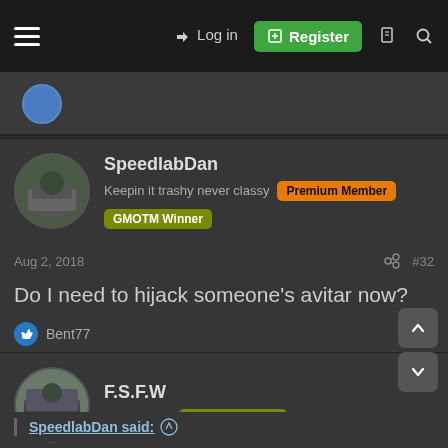Log in | Register
SpeedlabDan
Keepin it trashy never classy | Premium Member | GMOTM Winner
Aug 2, 2018  #32
Do I need to hijack someone's avitar now?
Bent77
F.S.F.W
1 ton status | GMOTM Winner
Aug 2, 2018  #33
SpeedlabDan said: